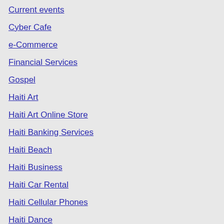Current events
Cyber Cafe
e-Commerce
Financial Services
Gospel
Haiti Art
Haiti Art Online Store
Haiti Banking Services
Haiti Beach
Haiti Business
Haiti Car Rental
Haiti Cellular Phones
Haiti Dance
Haiti Embassies and Consulates